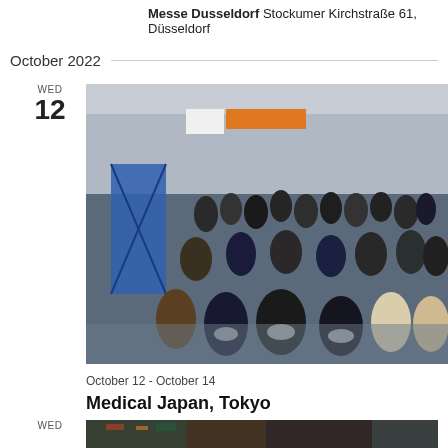Messe Dusseldorf Stockumer Kirchstraße 61, Düsseldorf
October 2022
WED
12
[Figure (photo): Crowded trade fair or exhibition hall with many attendees wearing masks, colorful vendor booths in the background]
October 12 - October 14
Medical Japan, Tokyo
Tokyo, Japan
WED